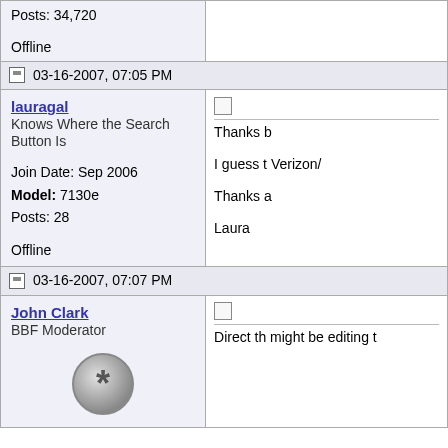Posts: 34,720
Offline
03-16-2007, 07:05 PM
lauragal
Knows Where the Search Button Is
Join Date: Sep 2006
Model: 7130e
Posts: 28
Offline
Thanks b...
I guess t... Verizon/...
Thanks a...
Laura
03-16-2007, 07:07 PM
John Clark
BBF Moderator
Direct th... might be... editing t...